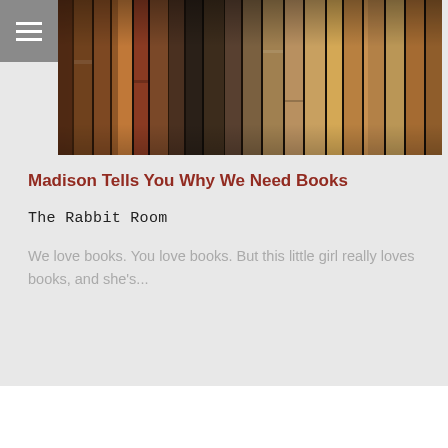[Figure (photo): A row of old leather-bound books on a shelf, viewed from the side, showing their spines in various shades of brown, red, and dark tones.]
Madison Tells You Why We Need Books
The Rabbit Room
We love books. You love books. But this little girl really loves books, and she's...